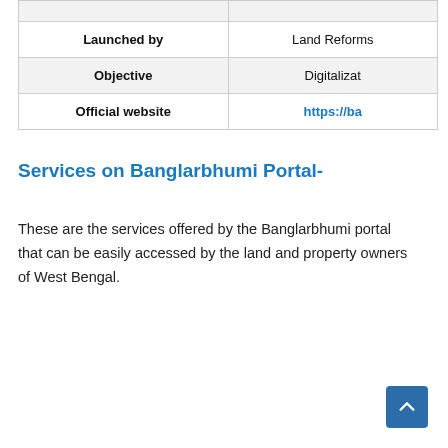|  |  |
| --- | --- |
| Launched by | Land Reforms |
| Objective | Digitalizat |
| Official website | https://ba |
Services on Banglarbhumi Portal-
These are the services offered by the Banglarbhumi portal that can be easily accessed by the land and property owners of West Bengal.